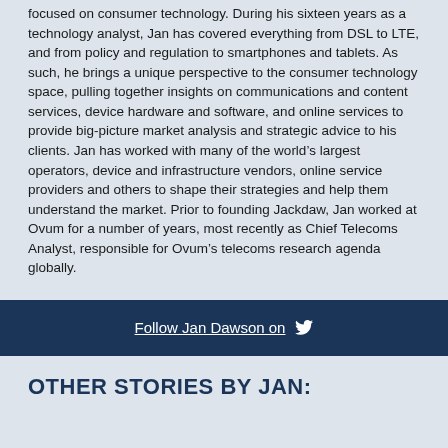focused on consumer technology. During his sixteen years as a technology analyst, Jan has covered everything from DSL to LTE, and from policy and regulation to smartphones and tablets. As such, he brings a unique perspective to the consumer technology space, pulling together insights on communications and content services, device hardware and software, and online services to provide big-picture market analysis and strategic advice to his clients. Jan has worked with many of the world's largest operators, device and infrastructure vendors, online service providers and others to shape their strategies and help them understand the market. Prior to founding Jackdaw, Jan worked at Ovum for a number of years, most recently as Chief Telecoms Analyst, responsible for Ovum's telecoms research agenda globally.
Follow Jan Dawson on
OTHER STORIES BY JAN: